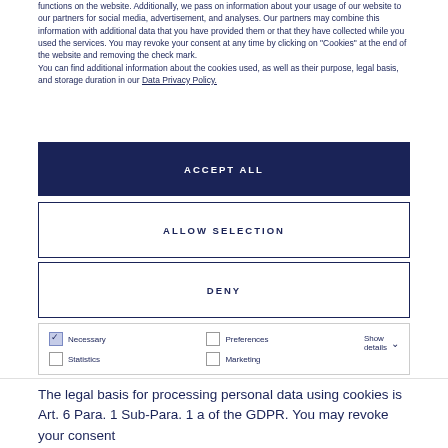functions on the website. Additionally, we pass on information about your usage of our website to our partners for social media, advertisement, and analyses. Our partners may combine this information with additional data that you have provided them or that they have collected while you used the services. You may revoke your consent at any time by clicking on "Cookies" at the end of the website and removing the check mark.
You can find additional information about the cookies used, as well as their purpose, legal basis, and storage duration in our Data Privacy Policy.
[Figure (other): ACCEPT ALL button — dark navy filled rectangle with white uppercase bold text]
[Figure (other): ALLOW SELECTION button — white rectangle with navy border and navy uppercase bold text]
[Figure (other): DENY button — white rectangle with navy border and navy uppercase bold text]
[Figure (other): Cookie consent options panel with checkboxes: Necessary (checked), Statistics (unchecked), Preferences (unchecked), Marketing (unchecked), and Show details dropdown]
The legal basis for processing personal data using cookies is Art. 6 Para. 1 Sub-Para. 1 a of the GDPR. You may revoke your consent